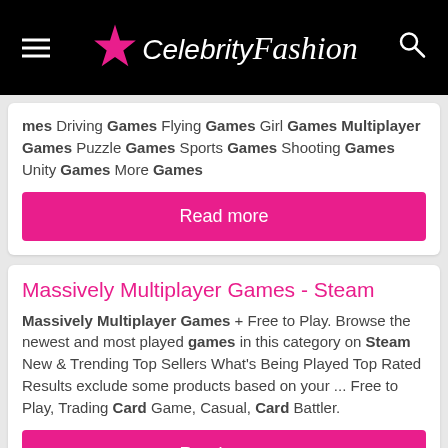Celebrity Fashion
mes Driving Games Flying Games Girl Games Multiplayer Games Puzzle Games Sports Games Shooting Games Unity Games More Games
Read more
Massively Multiplayer Games - Steam
Massively Multiplayer Games + Free to Play. Browse the newest and most played games in this category on Steam New & Trending Top Sellers What's Being Played Top Rated Results exclude some products based on your ... Free to Play, Trading Card Game, Casual, Card Battler.
Read more